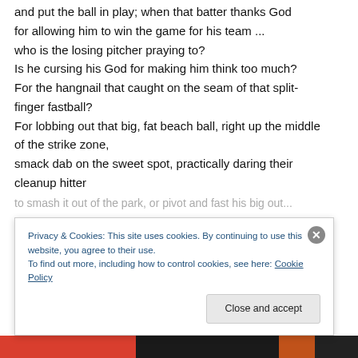and put the ball in play; when that batter thanks God for allowing him to win the game for his team ... who is the losing pitcher praying to? Is he cursing his God for making him think too much? For the hangnail that caught on the seam of that split-finger fastball? For lobbing out that big, fat beach ball, right up the middle of the strike zone, smack dab on the sweet spot, practically daring their cleanup hitter
Privacy & Cookies: This site uses cookies. By continuing to use this website, you agree to their use. To find out more, including how to control cookies, see here: Cookie Policy
Close and accept